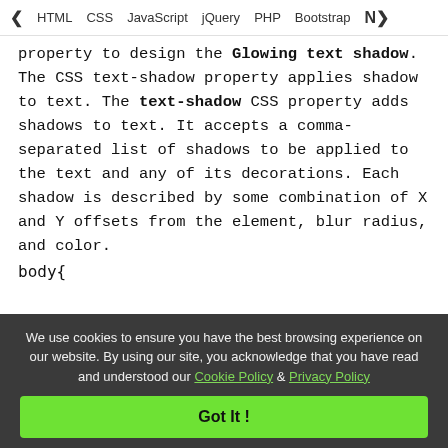< HTML  CSS  JavaScript  jQuery  PHP  Bootstrap  N>
property to design the Glowing text shadow. The CSS text-shadow property applies shadow to text. The text-shadow CSS property adds shadows to text. It accepts a comma-separated list of shadows to be applied to the text and any of its decorations. Each shadow is described by some combination of X and Y offsets from the element, blur radius, and color.
body{
We use cookies to ensure you have the best browsing experience on our website. By using our site, you acknowledge that you have read and understood our Cookie Policy & Privacy Policy
Got It !